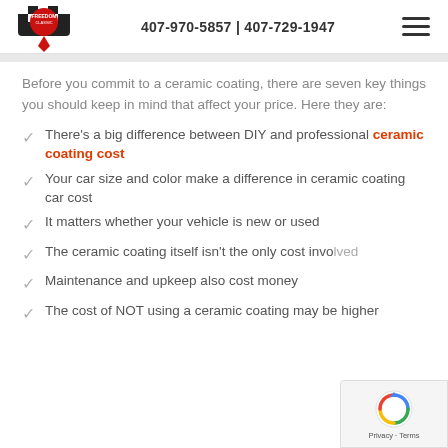407-970-5857 | 407-729-1947
Before you commit to a ceramic coating, there are seven key things you should keep in mind that affect your price. Here they are:
There's a big difference between DIY and professional ceramic coating cost
Your car size and color make a difference in ceramic coating car cost
It matters whether your vehicle is new or used
The ceramic coating itself isn't the only cost involved
Maintenance and upkeep also cost money
The cost of NOT using a ceramic coating may be higher